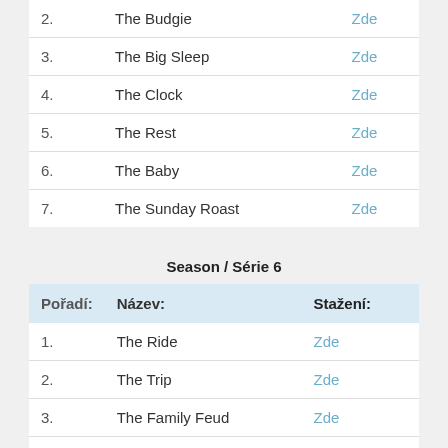| Pořadí: | Název: | Stažení: |
| --- | --- | --- |
| 2. | The Budgie | Zde |
| 3. | The Big Sleep | Zde |
| 4. | The Clock | Zde |
| 5. | The Rest | Zde |
| 6. | The Baby | Zde |
| 7. | The Sunday Roast | Zde |
Season / Série 6
| Pořadí: | Název: | Stažení: |
| --- | --- | --- |
| 1. | The Ride | Zde |
| 2. | The Trip | Zde |
| 3. | The Family Feud | Zde |
| 4. | The Caravan | Zde |